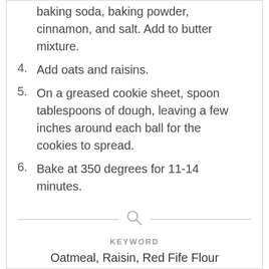(continuation) baking soda, baking powder, cinnamon, and salt. Add to butter mixture.
4. Add oats and raisins.
5. On a greased cookie sheet, spoon tablespoons of dough, leaving a few inches around each ball for the cookies to spread.
6. Bake at 350 degrees for 11-14 minutes.
KEYWORD
Oatmeal, Raisin, Red Fife Flour